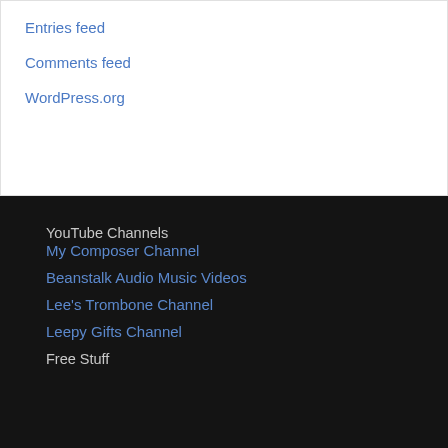Entries feed
Comments feed
WordPress.org
YouTube Channels
My Composer Channel
Beanstalk Audio Music Videos
Lee's Trombone Channel
Leepy Gifts Channel
Free Stuff